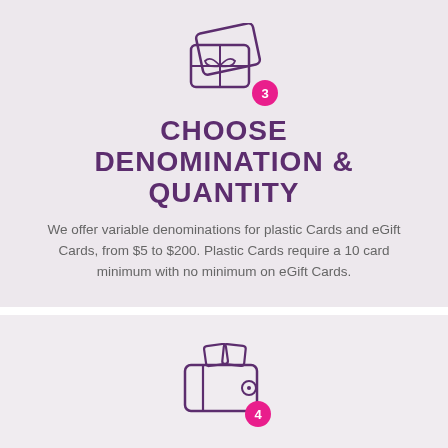[Figure (illustration): Line-art icon of two gift cards with a ribbon/bow, with a pink circle badge showing the number 3]
CHOOSE DENOMINATION & QUANTITY
We offer variable denominations for plastic Cards and eGift Cards, from $5 to $200. Plastic Cards require a 10 card minimum with no minimum on eGift Cards.
[Figure (illustration): Line-art icon of a wallet with cards inside, with a pink circle badge showing the number 4]